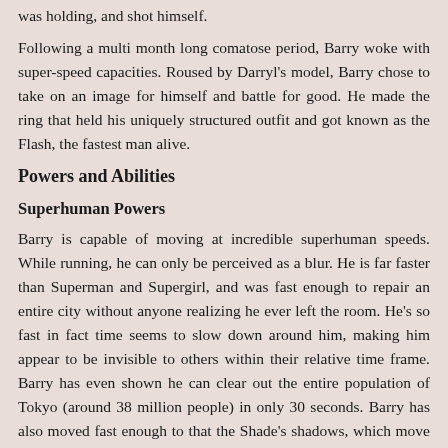was holding, and shot himself.
Following a multi month long comatose period, Barry woke with super-speed capacities. Roused by Darryl's model, Barry chose to take on an image for himself and battle for good. He made the ring that held his uniquely structured outfit and got known as the Flash, the fastest man alive.
Powers and Abilities
Superhuman Powers
Barry is capable of moving at incredible superhuman speeds. While running, he can only be perceived as a blur. He is far faster than Superman and Supergirl, and was fast enough to repair an entire city without anyone realizing he ever left the room. He's so fast in fact time seems to slow down around him, making him appear to be invisible to others within their relative time frame. Barry has even shown he can clear out the entire population of Tokyo (around 38 million people) in only 30 seconds. Barry has also moved fast enough to that the Shade's shadows, which move at the speed of darkness (speed of light) appeared frozen in time. Barry's speed also allows him to utilize superhuman force, which he can channel to simulate superhuman strength, such as when he easily crashed and broke through a wall made of steel or rushing an